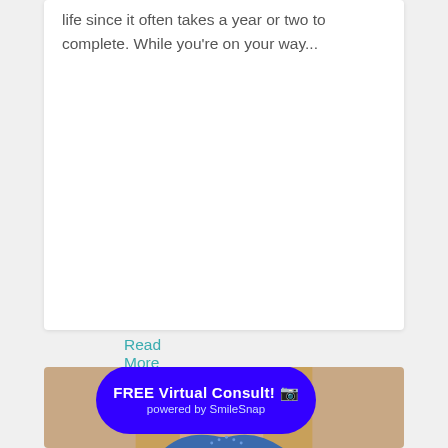life since it often takes a year or two to complete. While you're on your way...
Read More
[Figure (photo): Close-up photo of a smiling woman with metal braces pointing to her smile with both index fingers, wearing a blue top.]